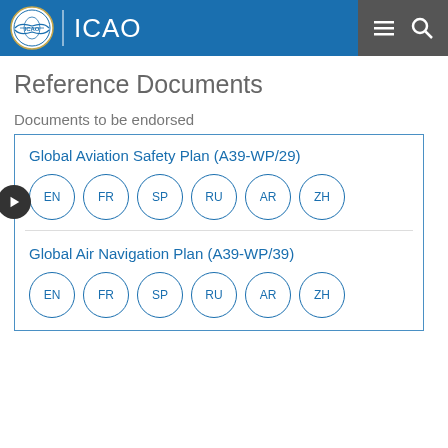ICAO
Reference Documents
Documents to be endorsed
Global Aviation Safety Plan (A39-WP/29) — EN, FR, SP, RU, AR, ZH
Global Air Navigation Plan (A39-WP/39) — EN, FR, SP, RU, AR, ZH